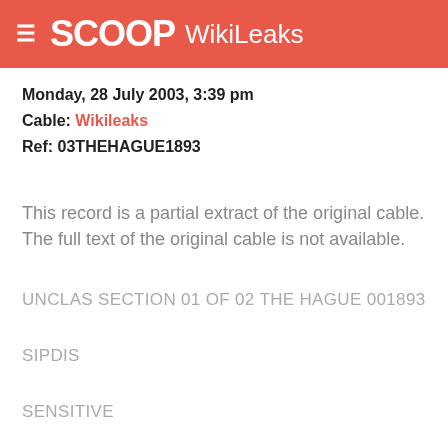SCOOP WikiLeaks
Monday, 28 July 2003, 3:39 pm
Cable: Wikileaks
Ref: 03THEHAGUE1893
This record is a partial extract of the original cable. The full text of the original cable is not available.
UNCLAS SECTION 01 OF 02 THE HAGUE 001893
SIPDIS
SENSITIVE